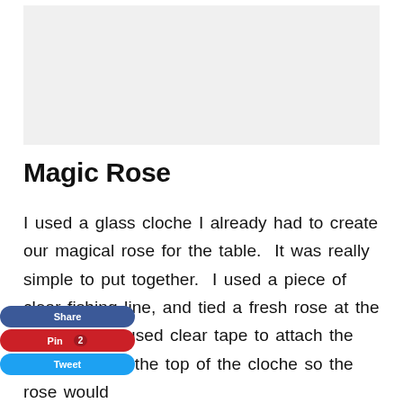[Figure (other): Light gray rectangular image placeholder area at top of page]
Magic Rose
I used a glass cloche I already had to create our magical rose for the table.  It was really simple to put together.  I used a piece of clear fishing line, and tied a fresh rose at the base, Next I used clear tape to attach the fishing line to the top of the cloche so the rose would